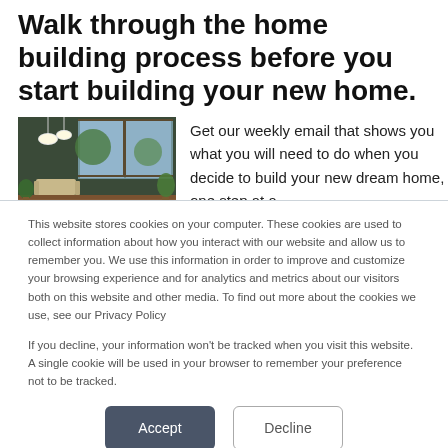Walk through the home building process before you start building your new home.
[Figure (photo): Interior photo of a modern home with large windows, hanging globe lights, wooden floors, and tropical plants]
Get our weekly email that shows you what you will need to do when you decide to build your new dream home, one step at a
This website stores cookies on your computer. These cookies are used to collect information about how you interact with our website and allow us to remember you. We use this information in order to improve and customize your browsing experience and for analytics and metrics about our visitors both on this website and other media. To find out more about the cookies we use, see our Privacy Policy
If you decline, your information won't be tracked when you visit this website. A single cookie will be used in your browser to remember your preference not to be tracked.